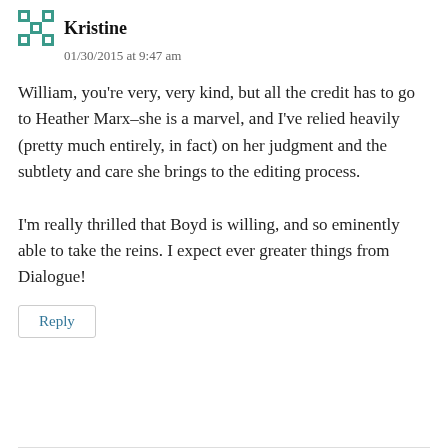Kristine
01/30/2015 at 9:47 am
William, you're very, very kind, but all the credit has to go to Heather Marx–she is a marvel, and I've relied heavily (pretty much entirely, in fact) on her judgment and the subtlety and care she brings to the editing process.
I'm really thrilled that Boyd is willing, and so eminently able to take the reins. I expect ever greater things from Dialogue!
Reply